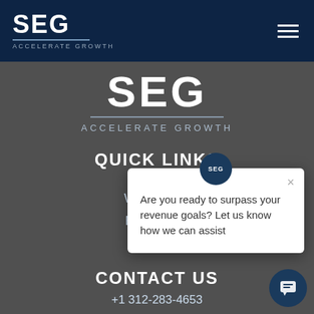[Figure (logo): SEG Accelerate Growth logo in white on navy header bar]
[Figure (logo): SEG Accelerate Growth large logo centered in dark gray section]
QUICK LINKS
Why SEG?
Resources
Careers
[Figure (infographic): Chat popup card with SEG logo circle, close X button, and text: Are you ready to surpass your revenue goals? Let us know how we can assist]
CONTACT US
+1 312-283-4653